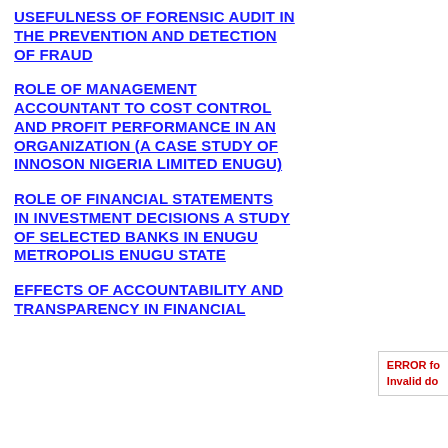USEFULNESS OF FORENSIC AUDIT IN THE PREVENTION AND DETECTION OF FRAUD
ROLE OF MANAGEMENT ACCOUNTANT TO COST CONTROL AND PROFIT PERFORMANCE IN AN ORGANIZATION (A CASE STUDY OF INNOSON NIGERIA LIMITED ENUGU)
ROLE OF FINANCIAL STATEMENTS IN INVESTMENT DECISIONS A STUDY OF SELECTED BANKS IN ENUGU METROPOLIS ENUGU STATE
EFFECTS OF ACCOUNTABILITY AND TRANSPARENCY IN FINANCIAL